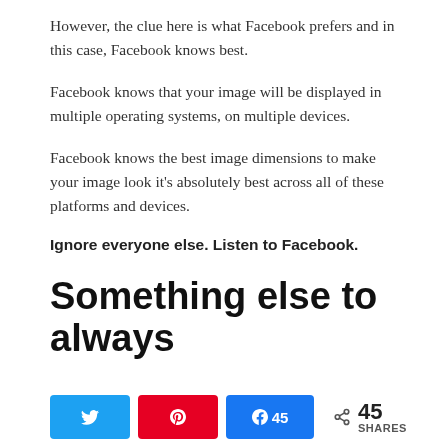However, the clue here is what Facebook prefers and in this case, Facebook knows best.
Facebook knows that your image will be displayed in multiple operating systems, on multiple devices.
Facebook knows the best image dimensions to make your image look it's absolutely best across all of these platforms and devices.
Ignore everyone else. Listen to Facebook.
Something else to always
45 SHARES